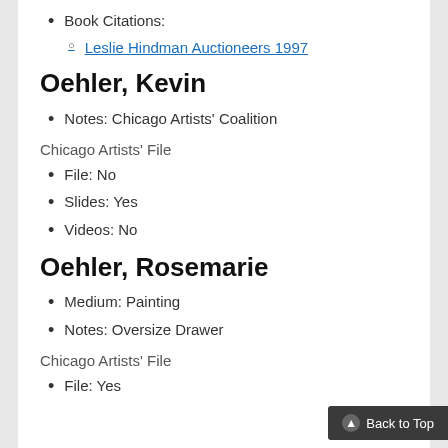Book Citations:
Leslie Hindman Auctioneers 1997
Oehler, Kevin
Notes: Chicago Artists' Coalition
Chicago Artists' File
File: No
Slides: Yes
Videos: No
Oehler, Rosemarie
Medium: Painting
Notes: Oversize Drawer
Chicago Artists' File
File: Yes